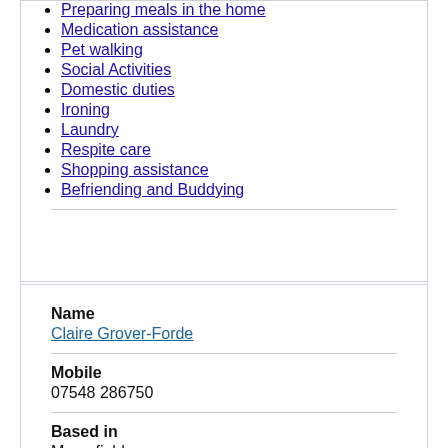Preparing meals in the home
Medication assistance
Pet walking
Social Activities
Domestic duties
Ironing
Laundry
Respite care
Shopping assistance
Befriending and Buddying
Name
Claire Grover-Forde
Mobile
07548 286750
Based in
Maresfield